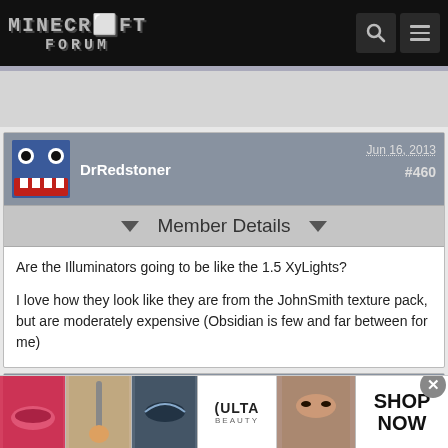Minecraft Forum
DrRedstoner  Jun 16, 2013  #460
Member Details
Are the Illuminators going to be like the 1.5 XyLights?

I love how they look like they are from the JohnSmith texture pack, but are moderately expensive (Obsidian is few and far between for me)
harley9699  Jun 17, 2013  #461
[Figure (screenshot): ULTA beauty advertisement banner at the bottom of the page showing makeup/cosmetics imagery with 'SHOP NOW' text]